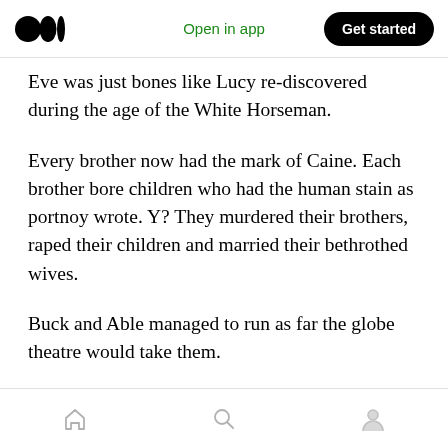Open in app | Get started
Eve was just bones like Lucy re-discovered during the age of the White Horseman.
Every brother now had the mark of Caine. Each brother bore children who had the human stain as portnoy wrote. Y? They murdered their brothers, raped their children and married their bethrothed wives.
Buck and Able managed to run as far the globe theatre would take them.
Home | Search | Profile